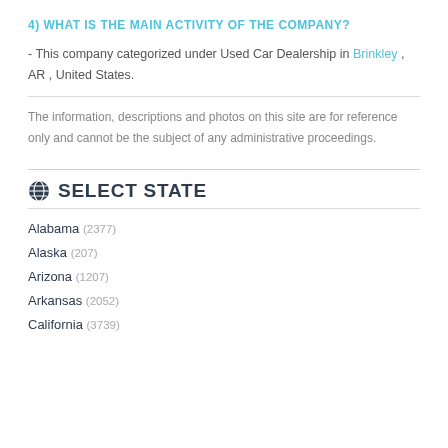4) WHAT IS THE MAIN ACTIVITY OF THE COMPANY?
- This company categorized under Used Car Dealership in Brinkley , AR , United States.
The information, descriptions and photos on this site are for reference only and cannot be the subject of any administrative proceedings.
SELECT STATE
Alabama (2377)
Alaska (207)
Arizona (1207)
Arkansas (2052)
California (3739)